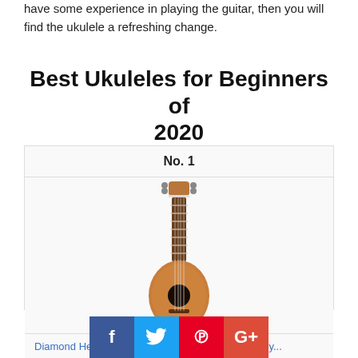have some experience in playing the guitar, then you will find the ukulele a refreshing change.
Best Ukuleles for Beginners of 2020
| No. 1 |
| [ukulele image] |
| Diamond Head DU-10 Soprano Ukulele - Mahogany... |
[Figure (infographic): Social media share buttons: Facebook, Twitter, Pinterest, Google+]